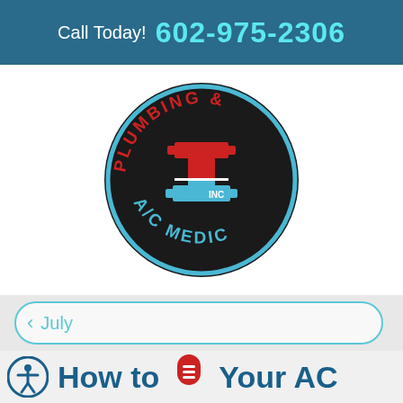Call Today! 602-975-2306
[Figure (logo): Plumbing & A/C Medic Inc circular logo with dark background, red and blue cross/pipe symbol in center, 'PLUMBING &' in red arc text on top, 'A/C MEDIC' in blue arc text on bottom, blue outer ring]
July
How to [mic icon] Your AC